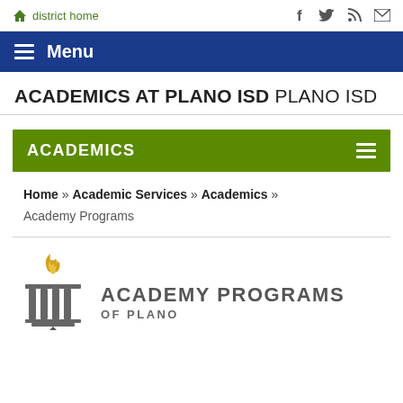district home
Menu
ACADEMICS AT PLANO ISD PLANO ISD
ACADEMICS
Home » Academic Services » Academics » Academy Programs
[Figure (logo): Academy Programs of Plano logo: a golden flame over a grey column/pillar icon, with text ACADEMY PROGRAMS OF PLANO]